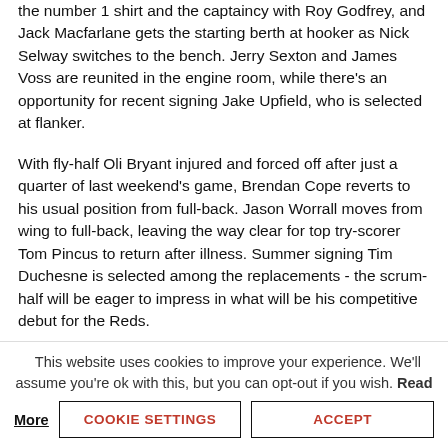the number 1 shirt and the captaincy with Roy Godfrey, and Jack Macfarlane gets the starting berth at hooker as Nick Selway switches to the bench. Jerry Sexton and James Voss are reunited in the engine room, while there's an opportunity for recent signing Jake Upfield, who is selected at flanker.
With fly-half Oli Bryant injured and forced off after just a quarter of last weekend's game, Brendan Cope reverts to his usual position from full-back. Jason Worrall moves from wing to full-back, leaving the way clear for top try-scorer Tom Pincus to return after illness. Summer signing Tim Duchesne is selected among the replacements - the scrum-half will be eager to impress in what will be his competitive debut for the Reds.
Prior to this season, the two sides had met on a dozen previous occasions, winning six apiece, since Jersey
This website uses cookies to improve your experience. We'll assume you're ok with this, but you can opt-out if you wish. Read More